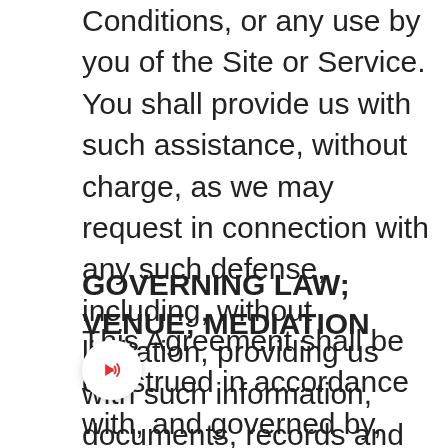Conditions, or any use by you of the Site or Service. You shall provide us with such assistance, without charge, as we may request in connection with any such defense, including, without limitation, providing us with such information, documents, records and reasonable access to you, as we deem necessary. You shall not settle any third party claim or waive any defense without our prior written consent.
GOVERNING LAW; VENUE; MEDIATION
This Agreement shall be construed in accordance with, and governed by, the laws of Scotland, where we are registered, as applied to contracts that are executed and performed entirely in Scotland. The exclusive venue for